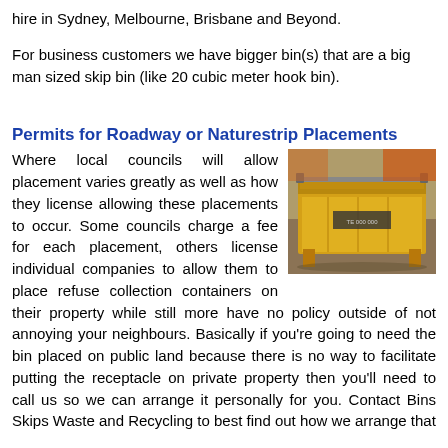hire in Sydney, Melbourne, Brisbane and Beyond.
For business customers we have bigger bin(s) that are a big man sized skip bin (like 20 cubic meter hook bin).
Permits for Roadway or Naturestrip Placements
[Figure (photo): A yellow skip bin/hook bin photographed from the front-side, placed on a surface, with metal frame visible.]
Where local councils will allow placement varies greatly as well as how they license allowing these placements to occur. Some councils charge a fee for each placement, others license individual companies to allow them to place refuse collection containers on their property while still more have no policy outside of not annoying your neighbours. Basically if you're going to need the bin placed on public land because there is no way to facilitate putting the receptacle on private property then you'll need to call us so we can arrange it personally for you. Contact Bins Skips Waste and Recycling to best find out how we arrange that